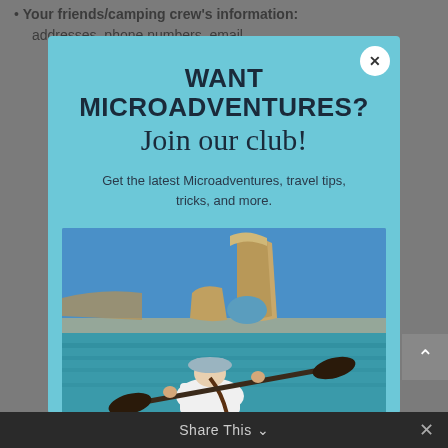Your friends/camping crew's information: addresses, phone numbers, email
WANT MICROADVENTURES? Join our club!
Get the latest Microadventures, travel tips, tricks, and more.
[Figure (photo): Person kayaking toward a large rock arch formation over turquoise water under a blue sky]
Share This ∨  ×